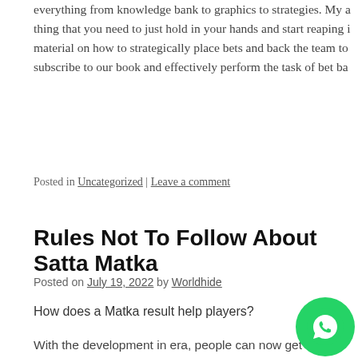everything from knowledge bank to graphics to strategies. My a thing that you need to just hold in your hands and start reaping i material on how to strategically place bets and back the team to subscribe to our book and effectively perform the task of bet ba
Posted in Uncategorized | Leave a comment
Rules Not To Follow About Satta Matka
Posted on July 19, 2022 by Worldhide
How does a Matka result help players?
With the development in era, people can now get the Matka end and speedy. They might be able to viewing the consequences of a selection of devices, along with laptops, computer s an Similarly, they'll be capable of having the outcomes o game